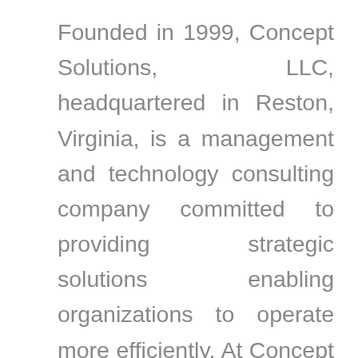Founded in 1999, Concept Solutions, LLC, headquartered in Reston, Virginia, is a management and technology consulting company committed to providing strategic solutions enabling organizations to operate more efficiently. At Concept Solutions, we create and support Mission-Critical solutions that keep our country safe in the areas of Aerospace, Defense, Law Enforcement, and Commerce. We are experts in delivering innovative solutions through